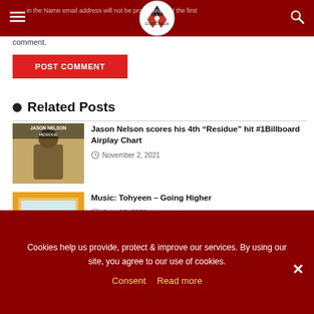GSM Gospel Media header with logo, hamburger menu, and search icon
comment.
POST COMMENT
Related Posts
Jason Nelson scores his 4th “Residue” hit #1Billboard Airplay Chart
November 2, 2021
Music: Tohyeen – Going Higher
June 10, 2021
Cookies help us provide, protect & improve our services. By using our site, you agree to our use of cookies.
Consent  Read more